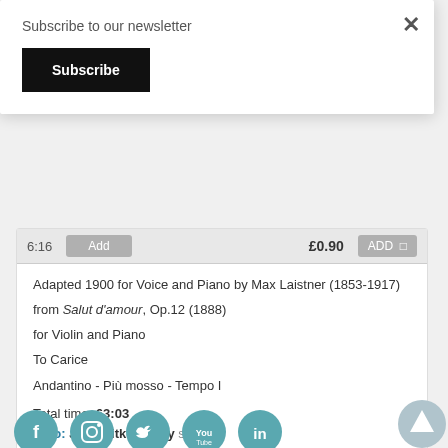Subscribe to our newsletter
Subscribe
Adapted 1900 for Voice and Piano by Max Laistner (1853-1917)
from Salut d'amour, Op.12 (1888)
for Violin and Piano
To Carice
Andantino - Più mosso - Tempo I
Total time: 63:03
Solo: Julia Sitkovetsky soprano
Solo: Christopher Glynn piano
[Figure (other): Social media icons row at bottom: Facebook, Instagram, Twitter, YouTube, LinkedIn; scroll-to-top arrow button at bottom right]